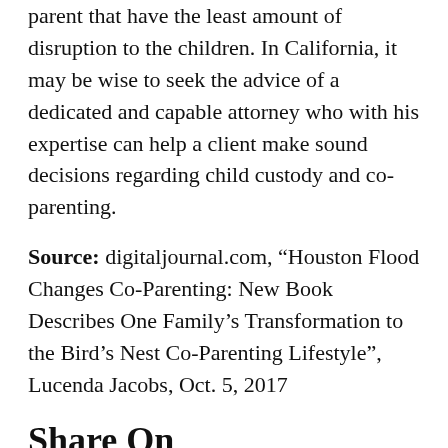parent that have the least amount of disruption to the children. In California, it may be wise to seek the advice of a dedicated and capable attorney who with his expertise can help a client make sound decisions regarding child custody and co-parenting.
Source: digitaljournal.com, “Houston Flood Changes Co-Parenting: New Book Describes One Family’s Transformation to the Bird’s Nest Co-Parenting Lifestyle”, Lucenda Jacobs, Oct. 5, 2017
Share On
[Figure (other): Three social media share buttons: Facebook, Twitter, and LinkedIn, partially visible at bottom of page]